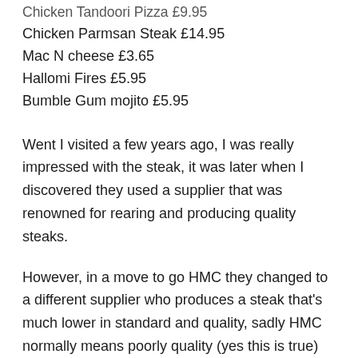Chicken Tandoori Pizza £9.95
Chicken Parmsan Steak £14.95
Mac N cheese £3.65
Hallomi Fires £5.95
Bumble Gum mojito £5.95
Went I visited a few years ago, I was really impressed with the steak, it was later when I discovered they used a supplier that was renowned for rearing and producing quality steaks.
However, in a move to go HMC they changed to a different supplier who produces a steak that's much lower in standard and quality, sadly HMC normally means poorly quality (yes this is true)
At £26.95 I was expecting a good-tasting steak, it just lacked any real depth in flavour you get from dry ageing. I